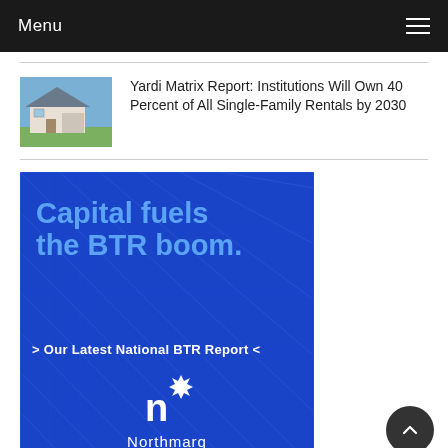Menu
[Figure (photo): Exterior photo of a single-family home with a blue sky background]
Yardi Matrix Report: Institutions Will Own 40 Percent of All Single-Family Rentals by 2030
[Figure (illustration): Northmarq advertisement banner with blue background and blueprint grid lines. Text reads: Capital fuels the BTR boom. > Our Latest National BTR Report < with Northmarq logo at bottom.]